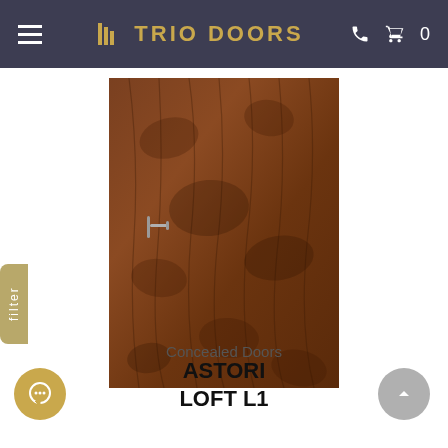≡ ⊠TRIO DOORS  📞 🛒 0
[Figure (photo): A dark brown wood-grain door panel with a silver lever handle on the left side, shown against a light background.]
Concealed Doors
ASTORI LOFT L1